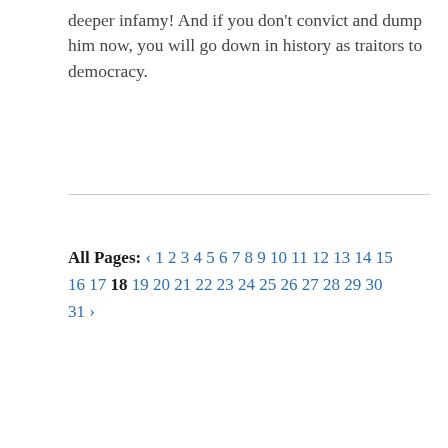deeper infamy! And if you don't convict and dump him now, you will go down in history as traitors to democracy.
All Pages: ‹ 1 2 3 4 5 6 7 8 9 10 11 12 13 14 15 16 17 18 19 20 21 22 23 24 25 26 27 28 29 30 31 ›